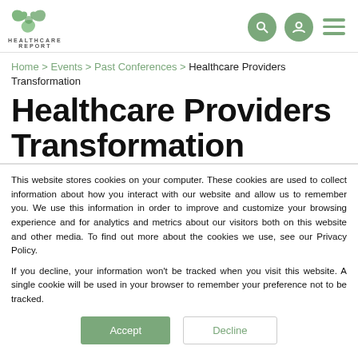HEALTHCARE REPORT — navigation header with logo, search, user, and menu icons
Home > Events > Past Conferences > Healthcare Providers Transformation
Healthcare Providers Transformation
This website stores cookies on your computer. These cookies are used to collect information about how you interact with our website and allow us to remember you. We use this information in order to improve and customize your browsing experience and for analytics and metrics about our visitors both on this website and other media. To find out more about the cookies we use, see our Privacy Policy.
If you decline, your information won't be tracked when you visit this website. A single cookie will be used in your browser to remember your preference not to be tracked.
Accept | Decline